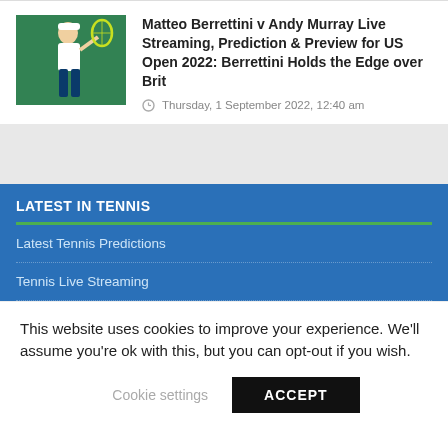[Figure (photo): Thumbnail photo of a tennis player (Matteo Berrettini) holding a racket, with a green court background]
Matteo Berrettini v Andy Murray Live Streaming, Prediction & Preview for US Open 2022: Berrettini Holds the Edge over Brit
Thursday, 1 September 2022, 12:40 am
LATEST IN TENNIS
Latest Tennis Predictions
Tennis Live Streaming
This website uses cookies to improve your experience. We'll assume you're ok with this, but you can opt-out if you wish.
Cookie settings   ACCEPT